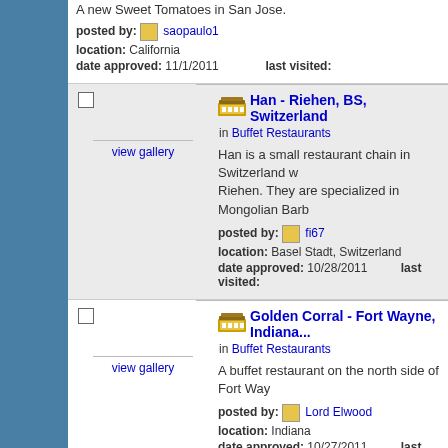A new Sweet Tomatoes in San Jose.
posted by: saopaulo1
location: California
date approved: 11/1/2011   last visited:
Han - Riehen, BS, Switzerland in Buffet Restaurants
Han is a small restaurant chain in Switzerland w... Riehen. They are specialized in Mongolian Barb...
posted by: fi67
location: Basel Stadt, Switzerland
date approved: 10/28/2011   last visited:
Golden Corral - Fort Wayne, Indiana... in Buffet Restaurants
A buffet restaurant on the north side of Fort Way...
posted by: Lord Elwood
location: Indiana
date approved: 10/27/2011   last visited: